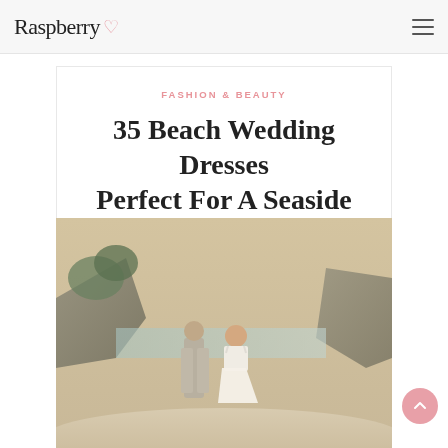Raspberry
FASHION & BEAUTY
35 Beach Wedding Dresses Perfect For A Seaside Ceremony
[Figure (photo): A couple on a beach — man in light gray suit facing away, woman in white backless wedding dress smiling, with rocky cliffs and palm trees in background]